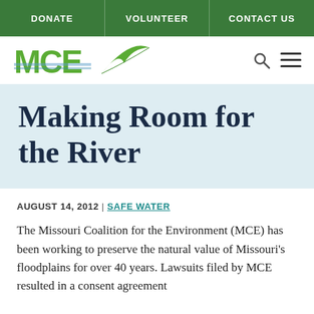DONATE | VOLUNTEER | CONTACT US
[Figure (logo): MCE (Missouri Coalition for the Environment) logo with green leaf graphic]
Making Room for the River
AUGUST 14, 2012 | SAFE WATER
The Missouri Coalition for the Environment (MCE) has been working to preserve the natural value of Missouri's floodplains for over 40 years. Lawsuits filed by MCE resulted in a consent agreement